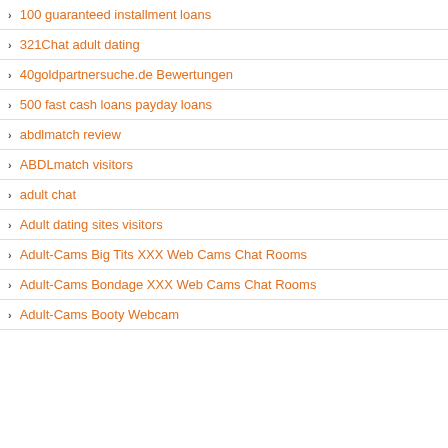100 guaranteed installment loans
321Chat adult dating
40goldpartnersuche.de Bewertungen
500 fast cash loans payday loans
abdlmatch review
ABDLmatch visitors
adult chat
Adult dating sites visitors
Adult-Cams Big Tits XXX Web Cams Chat Rooms
Adult-Cams Bondage XXX Web Cams Chat Rooms
Adult-Cams Booty Webcam